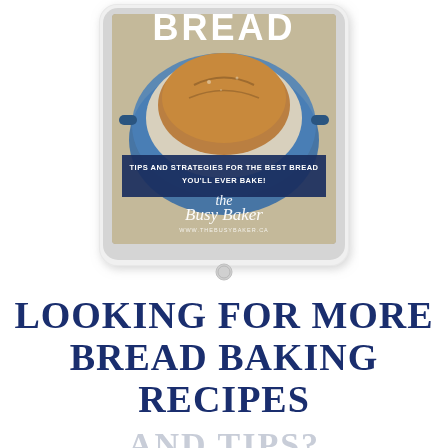[Figure (illustration): A tablet device (iPad-like) displayed showing a bread baking ebook cover. The cover shows a round loaf of bread in a blue dutch oven, with bold white text 'BREAD' and subtitle 'TIPS AND STRATEGIES FOR THE BEST BREAD YOU'LL EVER BAKE!' on a dark navy banner, and 'The Busy Baker' branding with website www.thebusybaker.ca at the bottom.]
LOOKING FOR MORE BREAD BAKING RECIPES
AND TIPS?